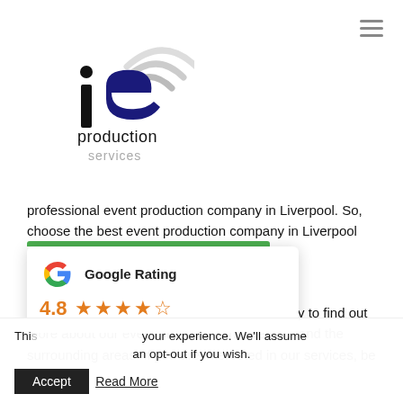[Figure (logo): IE Production Services logo with stylized 'ie' letters and radio wave arcs in dark blue and gray]
professional event production company in Liverpool. So, choose the best event production company in Liverpool and contact IE Production Services today.
Get in touch with IE Production Services today to find out more about our event production in Liverpool and the surrounding areas. If you are interested in our services, be
[Figure (other): Google Rating popup showing 4.8 stars out of 5 with star icons]
This [site uses cookies to improve] your experience. We'll assume [you're ok with this, but you c] an opt-out if you wish.
Accept  Read More